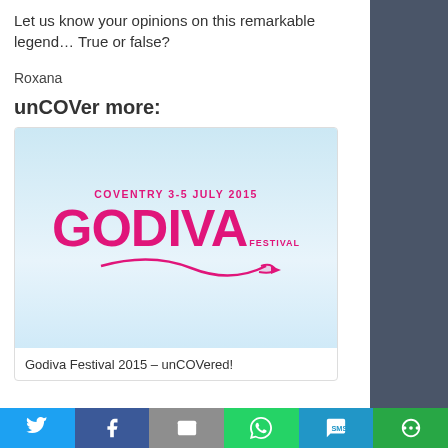Let us know your opinions on this remarkable legend… True or false?
Roxana
unCOVer more:
[Figure (illustration): Godiva Festival 2015 promotional image with pink logo on light blue background. Text: COVENTRY 3-5 JULY 2015, GODIVA FESTIVAL]
Godiva Festival 2015 – unCOVered!